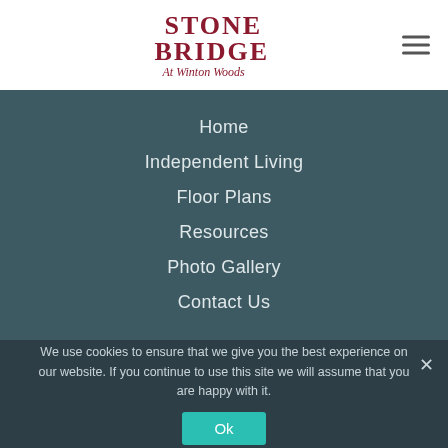[Figure (logo): Stone Bridge At Winton Woods logo in dark red/maroon serif text]
Home
Independent Living
Floor Plans
Resources
Photo Gallery
Contact Us
We use cookies to ensure that we give you the best experience on our website. If you continue to use this site we will assume that you are happy with it.